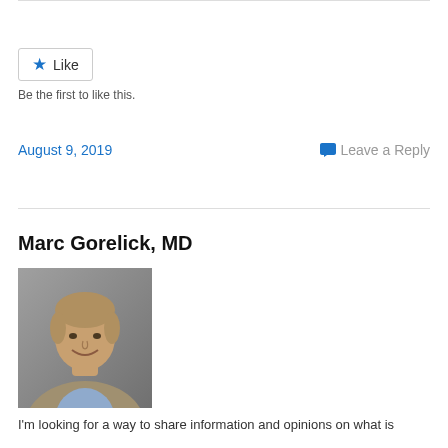Like
Be the first to like this.
August 9, 2019
Leave a Reply
Marc Gorelick, MD
[Figure (photo): Headshot of Marc Gorelick, MD — a middle-aged man with grey-blond hair, wearing a beige blazer and blue shirt, smiling, against a grey background.]
I'm looking for a way to share information and opinions on what is